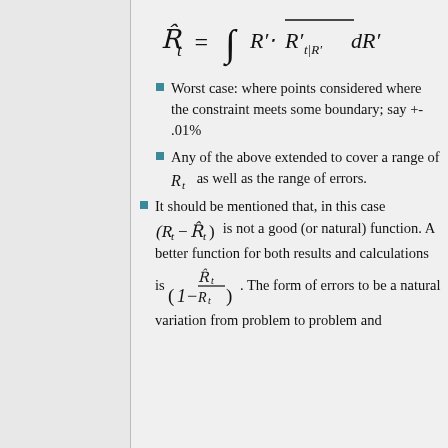Worst case: where points considered where the constraint meets some boundary; say +- .01%
Any of the above extended to cover a range of R_t as well as the range of errors.
It should be mentioned that, in this case (R_t - hat{R_t}) is not a good (or natural) function. A better function for both results and calculations is (1 - hat{R_t}/R_t). The form of errors to be a natural variation from problem to problem and